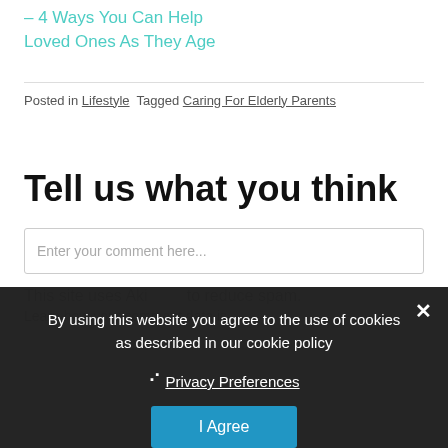– 4 Ways You Can Help Loved Ones As They Age
Posted in Lifestyle  Tagged Caring For Elderly Parents
Tell us what you think
Enter your comment here...
By using this website you agree to the use of cookies as described in our cookie policy
❯ Privacy Preferences
I Agree
This site uses Aki... to reduce spam. Learn how your comment data is...